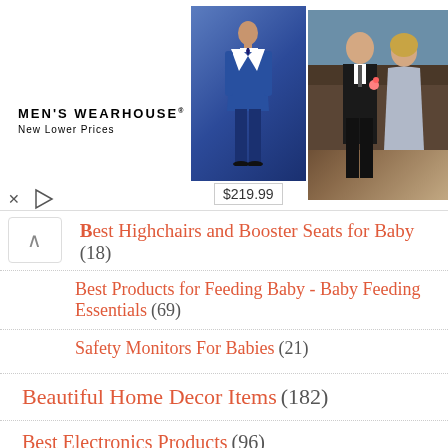[Figure (advertisement): Men's Wearhouse advertisement showing a man in a blue suit priced at $219.99 and a couple in wedding formal wear]
Best Highchairs and Booster Seats for Baby (18)
Best Products for Feeding Baby - Baby Feeding Essentials (69)
Safety Monitors For Babies (21)
Beautiful Home Decor Items (182)
Best Electronics Products (96)
Best Headphones (54)
Best Laptop Bags (11)
iPhone Wallet Case (9)
The Best Cameras (22)